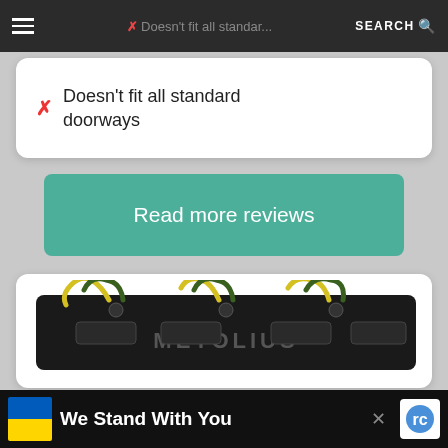SEARCH
✗ Doesn't fit all standard doorways
Read more reviews
2. Metolius Rock Rings 3D
[Figure (photo): Metolius Rock Rings 3D fingerboard/hangboard - black board with yellow/green rope through holes, METOLIUS branding visible]
We Stand With You